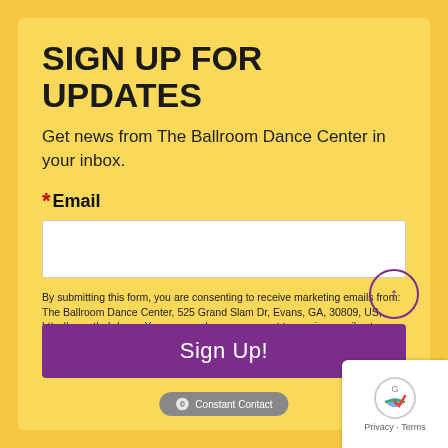SIGN UP FOR UPDATES
Get news from The Ballroom Dance Center in your inbox.
*Email
By submitting this form, you are consenting to receive marketing emails from: The Ballroom Dance Center, 525 Grand Slam Dr, Evans, GA, 30809, US, http://www.thebdc.us. You can revoke your consent to receive emails at any time by using the SafeUnsubscribe® link, found at the bottom of every email.
Emails are serviced by Constant Contact.
Sign Up!
[Figure (logo): Constant Contact logo at bottom of page]
[Figure (logo): Google reCAPTCHA privacy badge with Privacy and Terms links]